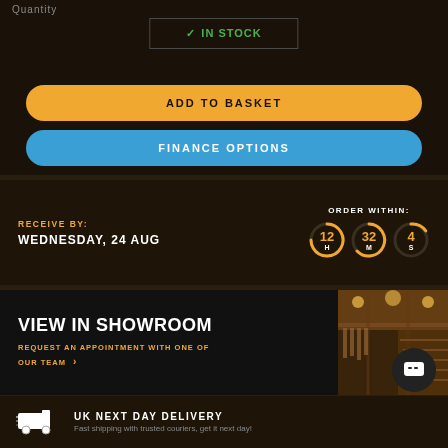Quantity
✓ IN STOCK
ADD TO BASKET
FINANCE OPTIONS
RECEIVE BY:
WEDNESDAY, 24 AUG
ORDER WITHIN: 12 H 32 M 4 S
VIEW IN SHOWROOM
REQUEST AN APPOINTMENT WITH ONE OF OUR TEAM
[Figure (photo): Interior of a guitar showroom with wooden displays and warm lighting]
UK NEXT DAY DELIVERY
Fast shipping with trusted couriers, get it next day!